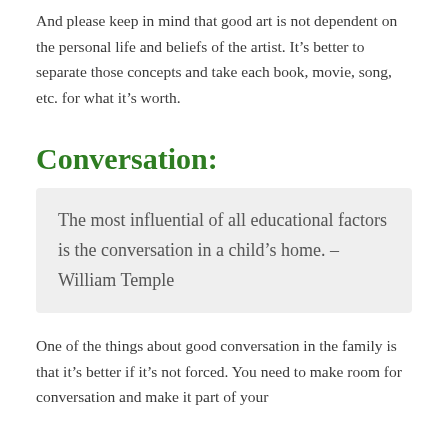And please keep in mind that good art is not dependent on the personal life and beliefs of the artist. It's better to separate those concepts and take each book, movie, song, etc. for what it's worth.
Conversation:
The most influential of all educational factors is the conversation in a child's home. – William Temple
One of the things about good conversation in the family is that it's better if it's not forced. You need to make room for conversation and make it part of your